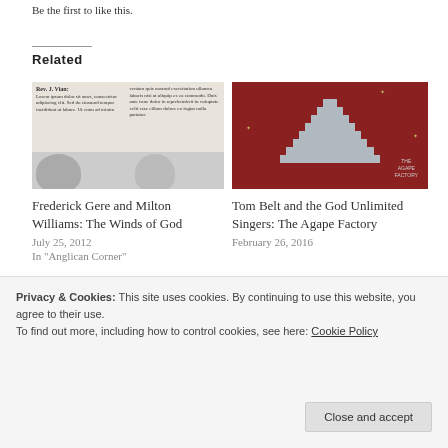Be the first to like this.
Related
[Figure (photo): Thumbnail of a document page showing text columns and two portrait photos at the bottom, black and white.]
[Figure (illustration): Book or album cover with a dark red background and a gray pyramid/staircase shape in the center. Text reads 'THE AGAPE FACTORY'.]
Frederick Gere and Milton Williams: The Winds of God
July 25, 2012
In "Anglican Corner"
Tom Belt and the God Unlimited Singers: The Agape Factory
February 26, 2016
Privacy & Cookies: This site uses cookies. By continuing to use this website, you agree to their use.
To find out more, including how to control cookies, see here: Cookie Policy
Close and accept